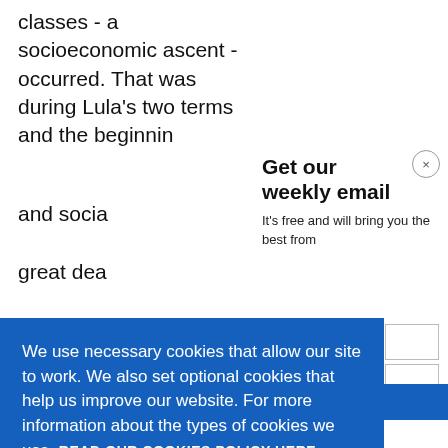classes - a socioeconomic ascent - occurred. That was during Lula's two terms and the beginnin and socia great dea
Get our weekly email
It's free and will bring you the best from
We use necessary cookies that allow our site to work. We also set optional cookies that help us improve our website. For more information about the types of cookies we use. READ OUR COOKIES POLICY HERE
COOKIE SETTINGS
ALLOW ALL COOKIES
data.
some imp